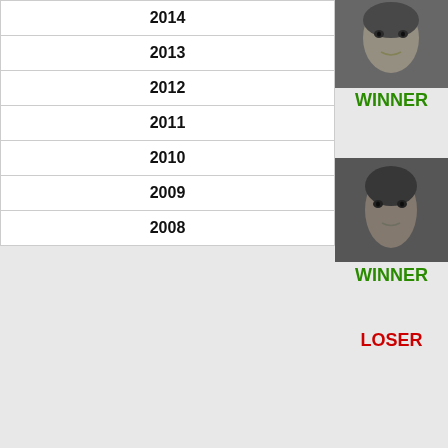| 2014 |
| 2013 |
| 2012 |
| 2011 |
| 2010 |
| 2009 |
| 2008 |
[Figure (photo): Grayscale portrait photo of a fighter (winner)]
WINNER
[Figure (photo): Grayscale portrait photo of a second fighter (winner)]
WINNER
LOSER